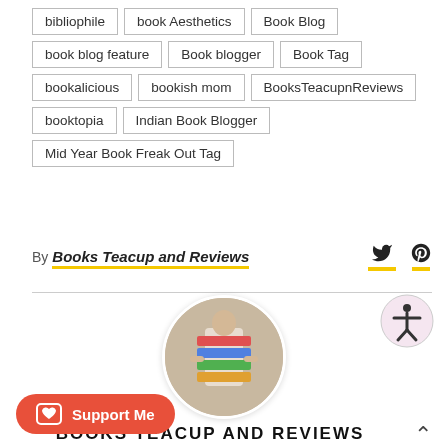bibliophile
book Aesthetics
Book Blog
book blog feature
Book blogger
Book Tag
bookalicious
bookish mom
BooksTeacupnReviews
booktopia
Indian Book Blogger
Mid Year Book Freak Out Tag
By Books Teacup and Reviews
[Figure (photo): Circular profile photo of a person holding a large stack of books]
BOOKS TEACUP AND REVIEWS
Hi, I'm Yesha, an Indian book blogger. Avid and eclectic read with a cup of tea. Not born reader but I don't think I'm going to stop reading books in
Support Me